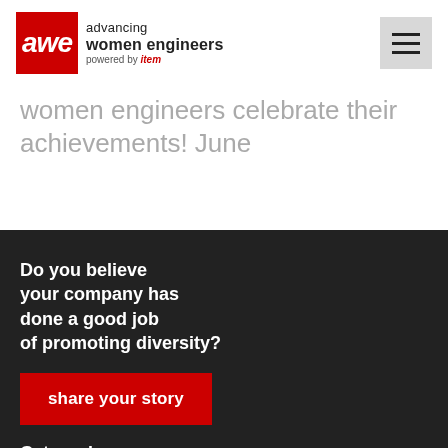[Figure (logo): AWE - Advancing Women Engineers logo, powered by item]
women engineers celebrate their achievements! June
Do you believe your company has done a good job of promoting diversity?
share your story
Categories